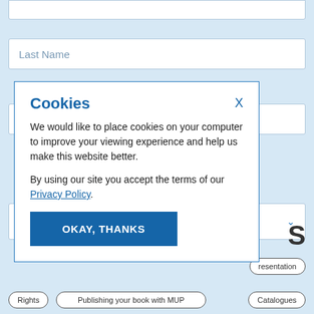[Figure (screenshot): Background web form with light blue background showing form input fields (First Name partially visible at top, Last Name, Email address, Country dropdown) and bottom tag buttons (Rights, Publishing your book with MUP, Catalogues, presentation)]
Cookies
We would like to place cookies on your computer to improve your viewing experience and help us make this website better.

By using our site you accept the terms of our Privacy Policy.
OKAY, THANKS